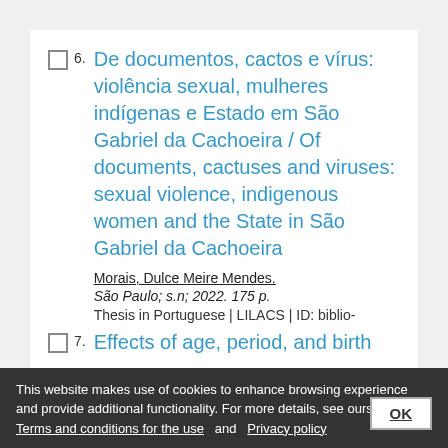6. De documentos, cactos e vírus: violência sexual, mulheres indígenas e Estado em São Gabriel da Cachoeira / Of documents, cactuses and viruses: sexual violence, indigenous women and the State in São Gabriel da Cachoeira
Morais, Dulce Meire Mendes.
São Paulo; s.n; 2022. 175 p.
Thesis in Portuguese | LILACS | ID: biblio-
This website makes use of cookies to enhance browsing experience and provide additional functionality. For more details, see ours: Terms and conditions for the use and Privacy policy
7. Effects of of age, period, and birth